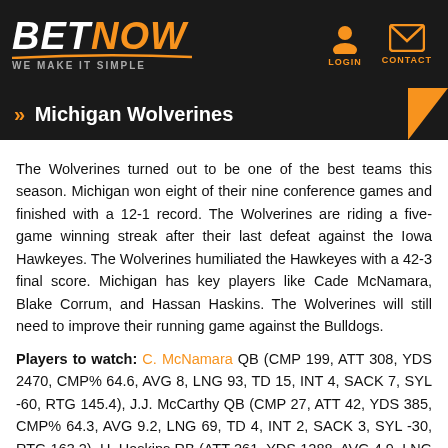BETNOW — WE MAKE IT SIMPLE | LOGIN | CONTACT
» Michigan Wolverines
The Wolverines turned out to be one of the best teams this season. Michigan won eight of their nine conference games and finished with a 12-1 record. The Wolverines are riding a five-game winning streak after their last defeat against the Iowa Hawkeyes. The Wolverines humiliated the Hawkeyes with a 42-3 final score. Michigan has key players like Cade McNamara, Blake Corrum, and Hassan Haskins. The Wolverines will still need to improve their running game against the Bulldogs.
Players to watch: C. McNamara QB (CMP 199, ATT 308, YDS 2470, CMP% 64.6, AVG 8, LNG 93, TD 15, INT 4, SACK 7, SYL -60, RTG 145.4), J.J. McCarthy QB (CMP 27, ATT 42, YDS 385, CMP% 64.3, AVG 9.2, LNG 69, TD 4, INT 2, SACK 3, SYL -30, RTG 163.2), H. Haskins RB (ATT 261, YDS 1288, AVG 4.9, LNG 62, TD 20), B. Corum RB (ATT 141, YDS 939,